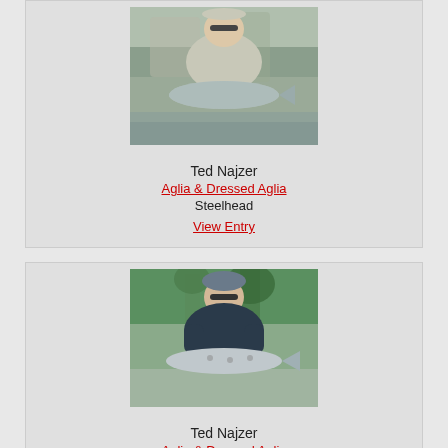[Figure (photo): Man holding a steelhead fish near a river with winter bare trees in background]
Ted Najzer
Aglia & Dressed Aglia
Steelhead
View Entry
[Figure (photo): Man holding a salmon/steelhead fish outdoors with green trees in background]
Ted Najzer
Aglia & Dressed Aglia